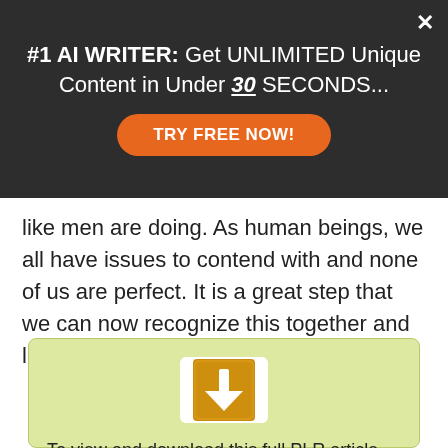#1 AI WRITER: Get UNLIMITED Unique Content in Under 30 SECONDS...
TRY FREE NOW!
like men are doing. As human beings, we all have issues to contend with and none of us are perfect. It is a great step that we can now recognize this together and learn...
[Figure (illustration): Download icon: orange/yellow square with white downward arrow, on white rounded square background]
To view and download this full PLR article, you must be logged in. Registration is completely free. Once you create your account, you will be able to browse, search & download from our PLR